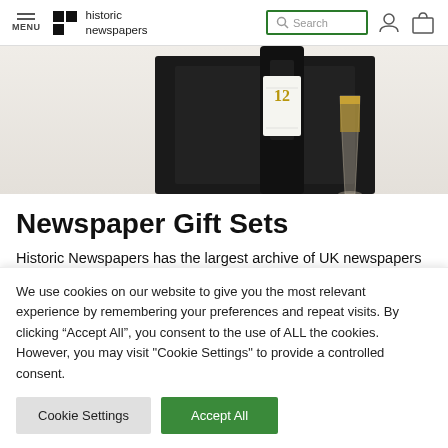MENU | Historic Newspapers | Search | [user icon] [cart icon]
[Figure (photo): Photo of a whisky gift set with a dark box, whisky bottle with white label, and a glass of whisky]
Newspaper Gift Sets
Historic Newspapers has the largest archive of UK newspapers available, collected from all kinds of sources, such as universities
We use cookies on our website to give you the most relevant experience by remembering your preferences and repeat visits. By clicking "Accept All", you consent to the use of ALL the cookies. However, you may visit "Cookie Settings" to provide a controlled consent.
Cookie Settings | Accept All